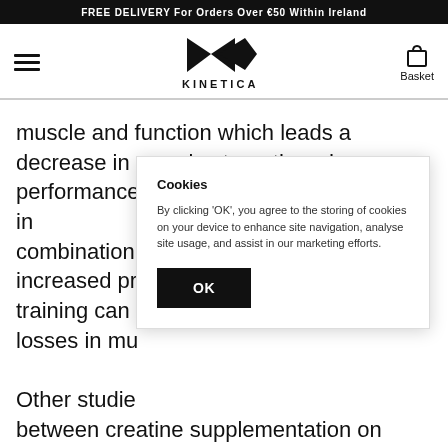FREE DELIVERY For Orders Over €50 Within Ireland
[Figure (logo): Kinetica logo — stylized K arrow mark above the word KINETICA]
muscle and function which leads a decrease in muscle strength and performance. To reduce the in... combination... increased pr... training can... losses in mu...
Cookies
By clicking 'OK', you agree to the storing of cookies on your device to enhance site navigation, analyse site usage, and assist in our marketing efforts.
Other studie... between creatine supplementation on reduced mental fatigue and improved...